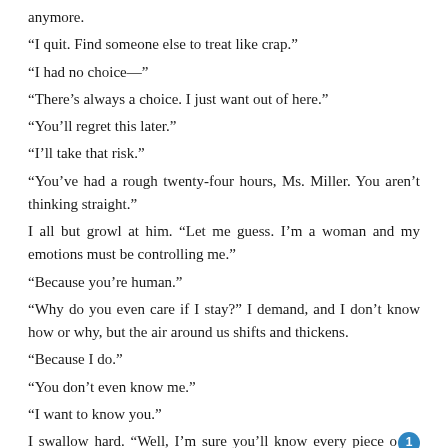anymore.
“I quit. Find someone else to treat like crap.”
“I had no choice—”
“There’s always a choice. I just want out of here.”
“You’ll regret this later.”
“I’ll take that risk.”
“You’ve had a rough twenty-four hours, Ms. Miller. You aren’t thinking straight.”
I all but growl at him. “Let me guess. I’m a woman and my emotions must be controlling me.”
“Because you’re human.”
“Why do you even care if I stay?” I demand, and I don’t know how or why, but the air around us shifts and thickens.
“Because I do.”
“You don’t even know me.”
“I want to know you.”
I swallow hard. “Well, I’m sure you’ll know every piece of my DNA after seven hours of being trapped here. Goal achieved.”